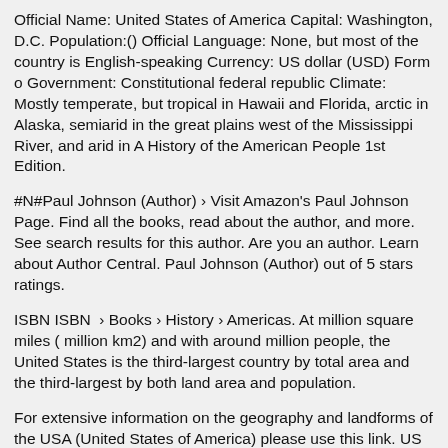Official Name: United States of America Capital: Washington, D.C. Population:() Official Language: None, but most of the country is English-speaking Currency: US dollar (USD) Form of Government: Constitutional federal republic Climate: Mostly temperate, but tropical in Hawaii and Florida, arctic in Alaska, semiarid in the great plains west of the Mississippi River, and arid in A History of the American People 1st Edition.
#N#Paul Johnson (Author) › Visit Amazon's Paul Johnson Page. Find all the books, read about the author, and more. See search results for this author. Are you an author. Learn about Author Central. Paul Johnson (Author) out of 5 stars ratings.
ISBN ISBN  › Books › History › Americas. At million square miles ( million km2) and with around million people, the United States is the third-largest country by total area and the third-largest by both land area and population.
For extensive information on the geography and landforms of the USA (United States of America) please use this link. US GEOGRAPHY By one of America's most widely-read historians, David McCullough, tells a compelling and readable story about the year the United States of America became exactly that.